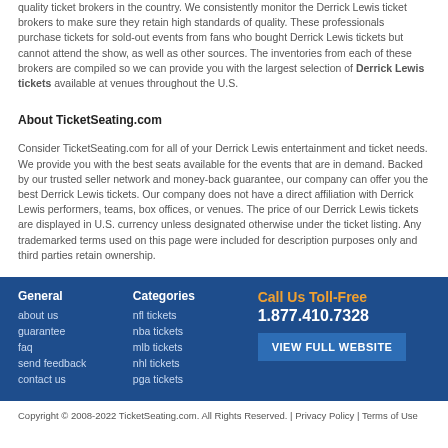quality ticket brokers in the country. We consistently monitor the Derrick Lewis ticket brokers to make sure they retain high standards of quality. These professionals purchase tickets for sold-out events from fans who bought Derrick Lewis tickets but cannot attend the show, as well as other sources. The inventories from each of these brokers are compiled so we can provide you with the largest selection of Derrick Lewis tickets available at venues throughout the U.S.
About TicketSeating.com
Consider TicketSeating.com for all of your Derrick Lewis entertainment and ticket needs. We provide you with the best seats available for the events that are in demand. Backed by our trusted seller network and money-back guarantee, our company can offer you the best Derrick Lewis tickets. Our company does not have a direct affiliation with Derrick Lewis performers, teams, box offices, or venues. The price of our Derrick Lewis tickets are displayed in U.S. currency unless designated otherwise under the ticket listing. Any trademarked terms used on this page were included for description purposes only and third parties retain ownership.
General | about us | guarantee | faq | send feedback | contact us | Categories | nfl tickets | nba tickets | mlb tickets | nhl tickets | pga tickets | Call Us Toll-Free 1.877.410.7328 | VIEW FULL WEBSITE
Copyright © 2008-2022 TicketSeating.com. All Rights Reserved. | Privacy Policy | Terms of Use